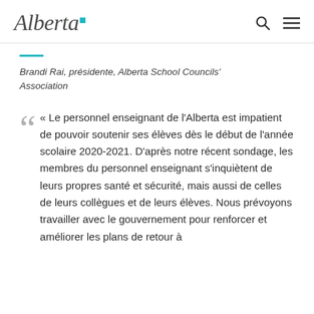Alberta [logo]
Brandi Rai, présidente, Alberta School Councils' Association
« Le personnel enseignant de l'Alberta est impatient de pouvoir soutenir ses élèves dès le début de l'année scolaire 2020-2021. D'après notre récent sondage, les membres du personnel enseignant s'inquiètent de leurs propres santé et sécurité, mais aussi de celles de leurs collègues et de leurs élèves. Nous prévoyons travailler avec le gouvernement pour renforcer et améliorer les plans de retour à